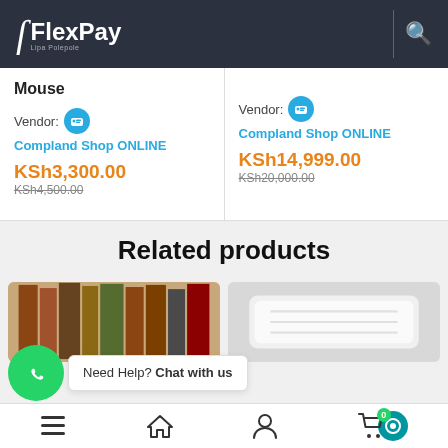FlexPay
Mouse
Vendor: Compland Shop ONLINE
KSh3,300.00
KSh4,500.00
Vendor: Compland Shop ONLINE
KSh14,999.00
KSh20,000.00
Related products
[Figure (photo): Two product images in related products section - books/items on left, white textile/cushion on right]
Need Help? Chat with us